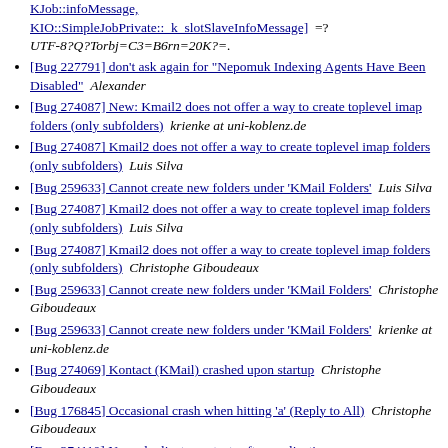KJob::infoMessage, KIO::SimpleJobPrivate::_k_slotSlaveInfoMessage]  =? UTF-8?Q?Torbj=C3=B6rn=20K?=.
[Bug 227791] don't ask again for "Nepomuk Indexing Agents Have Been Disabled"  Alexander
[Bug 274087] New: Kmail2 does not offer a way to create toplevel imap folders (only subfolders)  krienke at uni-koblenz.de
[Bug 274087] Kmail2 does not offer a way to create toplevel imap folders (only subfolders)  Luis Silva
[Bug 259633] Cannot create new folders under 'KMail Folders'  Luis Silva
[Bug 274087] Kmail2 does not offer a way to create toplevel imap folders (only subfolders)  Luis Silva
[Bug 274087] Kmail2 does not offer a way to create toplevel imap folders (only subfolders)  Christophe Giboudeaux
[Bug 259633] Cannot create new folders under 'KMail Folders'  Christophe Giboudeaux
[Bug 259633] Cannot create new folders under 'KMail Folders'  krienke at uni-koblenz.de
[Bug 274069] Kontact (KMail) crashed upon startup  Christophe Giboudeaux
[Bug 176845] Occasional crash when hitting 'a' (Reply to All)  Christophe Giboudeaux
[Bug 274110] New: duplicate contacts after application